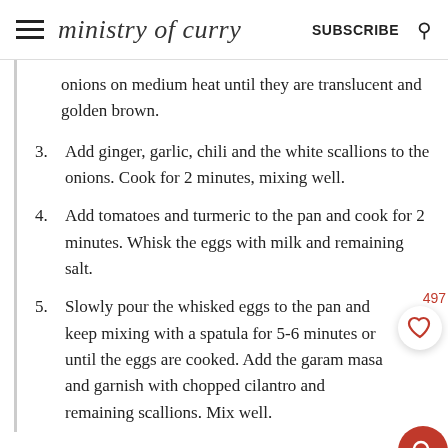ministry of curry  SUBSCRIBE
onions on medium heat until they are translucent and golden brown.
3. Add ginger, garlic, chili and the white scallions to the onions. Cook for 2 minutes, mixing well.
4. Add tomatoes and turmeric to the pan and cook for 2 minutes. Whisk the eggs with milk and remaining salt.
5. Slowly pour the whisked eggs to the pan and keep mixing with a spatula for 5-6 minutes or until the eggs are cooked. Add the garam masala and garnish with chopped cilantro and remaining scallions. Mix well.
To serve
1. Heat a griddle on medium heat. Apply homemade ghee on both sides of sliced bread.